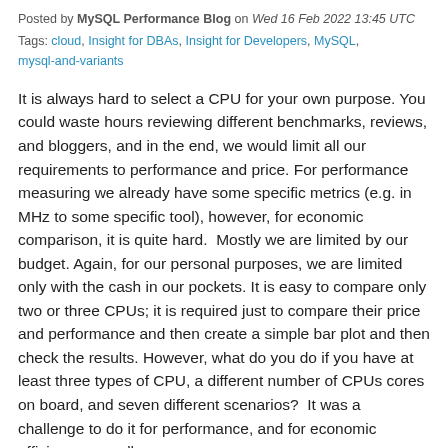Posted by MySQL Performance Blog on Wed 16 Feb 2022 13:45 UTC
Tags: cloud, Insight for DBAs, Insight for Developers, MySQL, mysql-and-variants
It is always hard to select a CPU for your own purpose. You could waste hours reviewing different benchmarks, reviews, and bloggers, and in the end, we would limit all our requirements to performance and price. For performance measuring we already have some specific metrics (e.g. in MHz to some specific tool), however, for economic comparison, it is quite hard.  Mostly we are limited by our budget. Again, for our personal purposes, we are limited only with the cash in our pockets. It is easy to compare only two or three CPUs; it is required just to compare their price and performance and then create a simple bar plot and then check the results. However, what do you do if you have at least three types of CPU, a different number of CPUs cores on board, and seven different scenarios?  It was a challenge to do it for performance, and for economic efficiency as well.